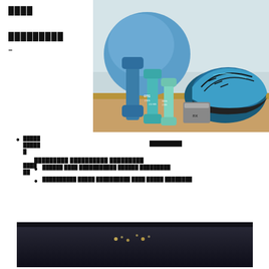████

█████████

–
[Figure (photo): Fitness equipment: blue dumbbells of various weights (2KG, 2.5KG, 3KG) with OTG branding, a blue balance ball, teal/black ASICS running shoe, and a gym glove on a wooden surface]
█████ █████ █
████ ██
█████████
█████████ ██████████ █████████
██████ ████ ███████████ ██████ █████████
██████████ █████ ██████████ ████ █████ ████████
[Figure (photo): Dark room interior with small hanging lights or bokeh lights visible in the background]